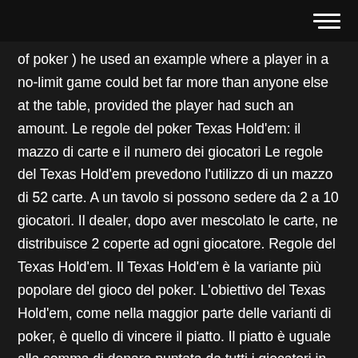[hamburger menu icon]
of poker ) he used an example where a player in a no-limit game could bet far more than anyone else at the table, provided the player had such an amount. Le regole del poker Texas Hold'em: il mazzo di carte e il numero dei giocatori Le regole del Texas Hold'em prevedono l'utilizzo di un mazzo di 52 carte. A un tavolo si possono sedere da 2 a 10 giocatori. Il dealer, dopo aver mescolato le carte, ne distribuisce 2 coperte ad ogni giocatore. Regole del Texas Hold'em. Il Texas Hold'em è la variante più popolare del gioco del poker. L'obiettivo del Texas Hold'em, come nella maggior parte delle varianti di poker, è quello di vincere il piatto. Il piatto è uguale alla somma di denaro puntata da tutti i giocatori in una mano. Texas Hold'em Poker Driven by the popularity of televised poker, Texas Hold'em (more